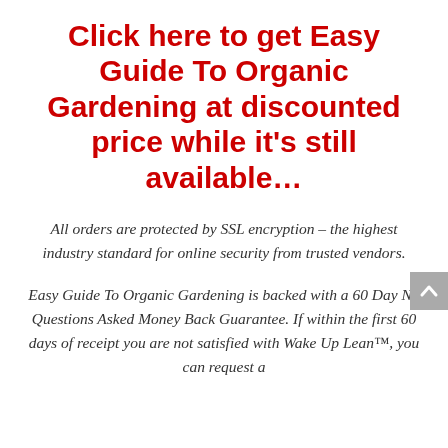Click here to get Easy Guide To Organic Gardening at discounted price while it's still available…
All orders are protected by SSL encryption – the highest industry standard for online security from trusted vendors.
Easy Guide To Organic Gardening is backed with a 60 Day No Questions Asked Money Back Guarantee. If within the first 60 days of receipt you are not satisfied with Wake Up Lean™, you can request a